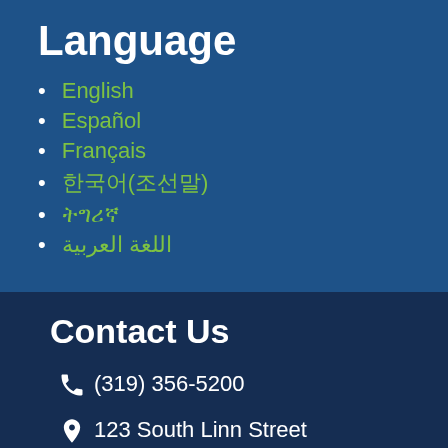Language
English
Español
Français
한국어(조선말)
Tiếng Việt
اللغة العربية
Contact Us
(319) 356-5200
123 South Linn Street Iowa City, IA 52240
Email or Chat